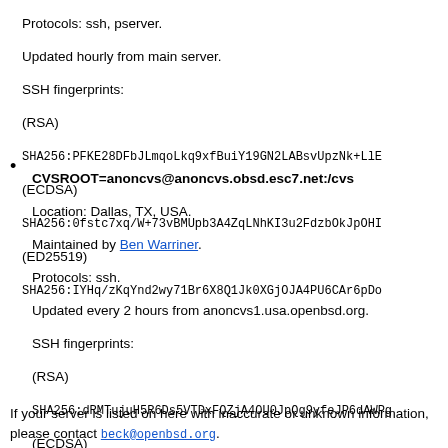Protocols: ssh, pserver.
Updated hourly from main server.
SSH fingerprints:
(RSA)
SHA256:PFKE28DFbJLmqoLkq9xfBuiY19GN2LABsvUpzNk+LlE
(ECDSA)
SHA256:0fstc7xq/W+73vBMUpb3A4ZqLNhKI3u2FdzbOkJpOHI
(ED25519)
SHA256:IYHq/zKqYnd2wy71Br6X8Q1Jk0XGjOJA4PU6CAr6pDo
CVSROOT=anoncvs@anoncvs.obsd.esc7.net:/cvs
Location: Dallas, TX, USA.
Maintained by Ben Warriner.
Protocols: ssh.
Updated every 2 hours from anoncvs1.usa.openbsd.org.
SSH fingerprints:
(RSA)
SHA256:dRMTujuH5R6Ds5VTDxFQZjA4OU0JpQg9yfeJP6dAWPg
(ECDSA)
SHA256:zB+Lu/WgMAqD2fq01h5xia3G/P9eFwoiDqoTxL5sSI0
(ED25519)
SHA256:1B6cgj0EnAodwiIdAl54SMWoaAoljh82jlNnhinseTM
If your server is listed on here with inaccurate or unknown information, please contact beck@openbsd.org.